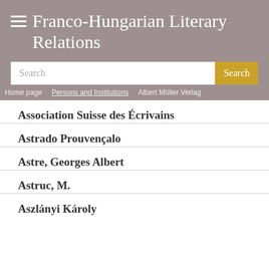Franco-Hungarian Literary Relations
Search
Home page / Persons and Institutions / Albert Müller Verlag
Association Suisse des Écrivains
Astrado Prouvençalo
Astre, Georges Albert
Astruc, M.
Aszlányi Károly